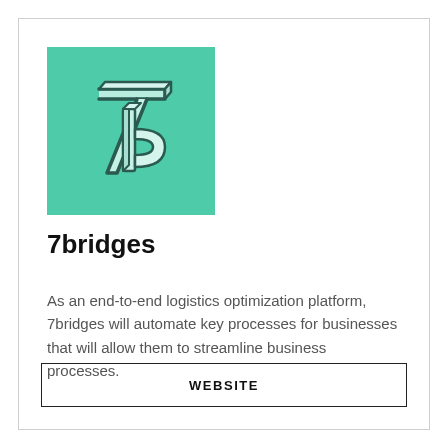[Figure (logo): 7bridges company logo: teal/green square background with a 3D isometric stylized '7' and 'b' letterform in dark outline]
7bridges
As an end-to-end logistics optimization platform, 7bridges will automate key processes for businesses that will allow them to streamline business processes.
WEBSITE